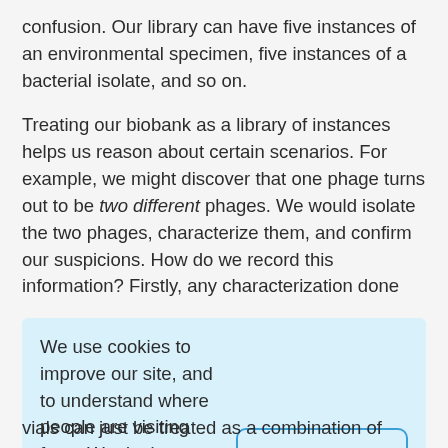confusion. Our library can have five instances of an environmental specimen, five instances of a bacterial isolate, and so on.
Treating our biobank as a library of instances helps us reason about certain scenarios. For example, we might discover that one phage turns out to be two different phages. We would isolate the two phages, characterize them, and confirm our suspicions. How do we record this information? Firstly, any characterization done
We use cookies to improve our site, and to understand where people are visiting from. We don't use targeted ads or track personal information. Read our site policies here.
vials can just be treated as a combination of